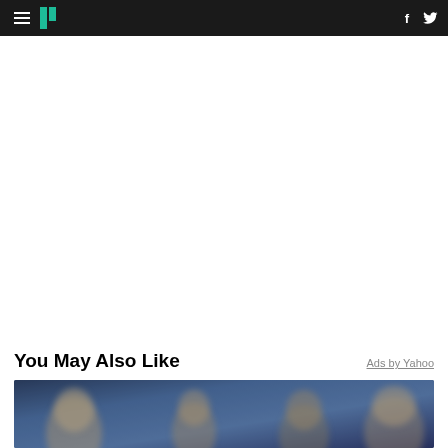HuffPost navigation bar with hamburger menu, logo, Facebook and Twitter icons
You May Also Like
Ads by Yahoo
[Figure (photo): Blurred photo of people, appears to show students or audience members in a blue-toned setting]